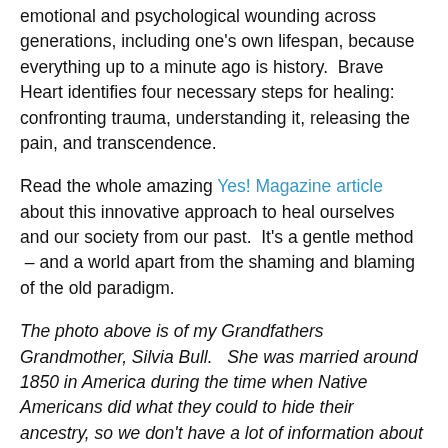emotional and psychological wounding across generations, including one's own lifespan, because everything up to a minute ago is history.  Brave Heart identifies four necessary steps for healing:  confronting trauma, understanding it, releasing the pain, and transcendence.
Read the whole amazing Yes! Magazine article about this innovative approach to heal ourselves and our society from our past.  It's a gentle method  – and a world apart from the shaming and blaming of the old paradigm.
The photo above is of my Grandfathers Grandmother, Silvia Bull.   She was married around 1850 in America during the time when Native Americans did what they could to hide their ancestry, so we don't have a lot of information about her life.